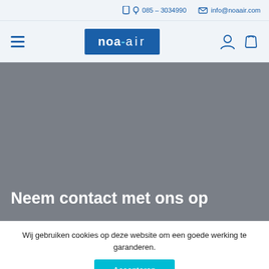085 – 3034990   info@noaair.com
[Figure (logo): noa-air logo in blue box]
Neem contact met ons op
Wij gebruiken cookies op deze website om een goede werking te garanderen.
Accepteren